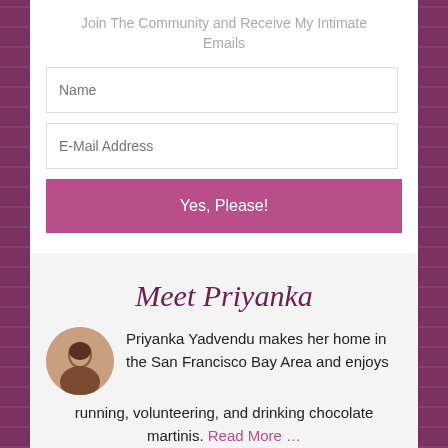Join The Community and Receive My Intimate Emails
[Figure (other): Name input field placeholder]
[Figure (other): E-Mail Address input field placeholder]
[Figure (other): Yes, Please! submit button]
Meet Priyanka
[Figure (photo): Circular profile photo of Priyanka Yadvendu]
Priyanka Yadvendu makes her home in the San Francisco Bay Area and enjoys running, volunteering, and drinking chocolate martinis. Read More …